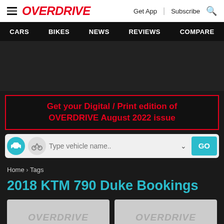OVERDRIVE | Get App | Subscribe
CARS | BIKES | NEWS | REVIEWS | COMPARE
Get your Digital / Print edition of OVERDRIVE August 2022 issue
Type vehicle name..
Home > Tags
2018 KTM 790 Duke Bookings
[Figure (logo): OVERDRIVE placeholder card 1]
[Figure (logo): OVERDRIVE placeholder card 2]